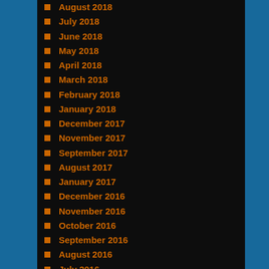August 2018
July 2018
June 2018
May 2018
April 2018
March 2018
February 2018
January 2018
December 2017
November 2017
September 2017
August 2017
January 2017
December 2016
November 2016
October 2016
September 2016
August 2016
July 2016
June 2016
May 2016
April 2016